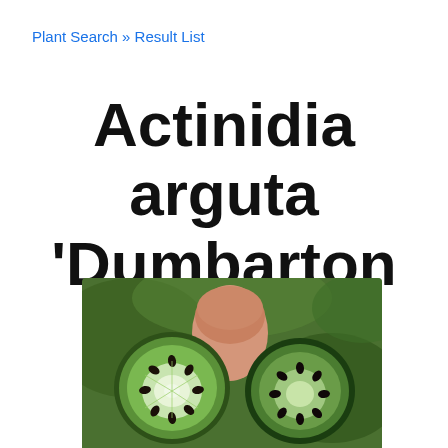Plant Search » Result List
Actinidia arguta 'Dumbarton Oaks'
[Figure (photo): Close-up photograph of Actinidia arguta 'Dumbarton Oaks' fruit cross sections held between fingers, showing green kiwi berry interiors with seeds and white core, against a blurred green background.]